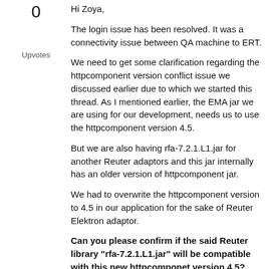0
Upvotes
Hi Zoya,
The login issue has been resolved. It was a connectivity issue between QA machine to ERT.
We need to get some clarification regarding the httpcomponent version conflict issue we discussed earlier due to which we started this thread. As I mentioned earlier, the EMA jar we are using for our development, needs us to use the httpcomponent version 4.5.
But we are also having rfa-7.2.1.L1.jar for another Reuter adaptors and this jar internally has an older version of httpcomponent jar.
We had to overwrite the httpcomponent version to 4.5 in our application for the sake of Reuter Elektron adaptor.
Can you please confirm if the said Reuter library "rfa-7.2.1.L1.jar" will be compatible with this new httpcomponet version 4.5?
We are to use this old Reuter library for